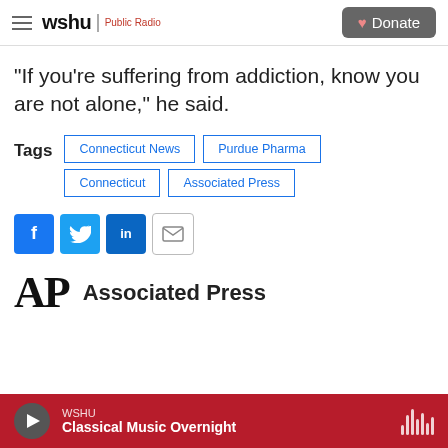wshu Public Radio | Donate
“If you’re suffering from addiction, know you are not alone,” he said.
Tags: Connecticut News | Purdue Pharma | Connecticut | Associated Press
[Figure (infographic): Social sharing buttons: Facebook, Twitter, LinkedIn, Email]
[Figure (logo): Associated Press AP logo with text 'Associated Press']
WSHU Classical Music Overnight